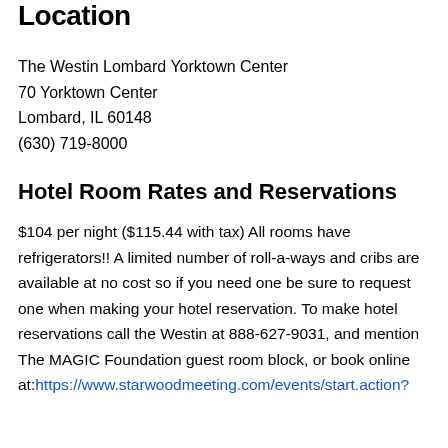Location
The Westin Lombard Yorktown Center
70 Yorktown Center
Lombard, IL 60148
(630) 719-8000
Hotel Room Rates and Reservations
$104 per night ($115.44 with tax) All rooms have refrigerators!! A limited number of roll-a-ways and cribs are available at no cost so if you need one be sure to request one when making your hotel reservation. To make hotel reservations call the Westin at 888-627-9031, and mention The MAGIC Foundation guest room block, or book online at:https://www.starwoodmeeting.com/events/start.action?